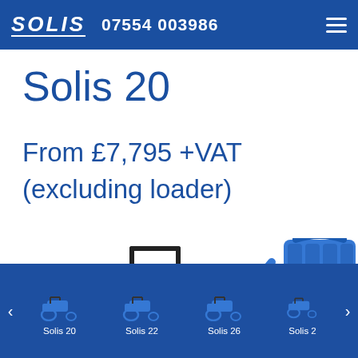Solis 07554 003986
Solis 20
From £7,795 +VAT (excluding loader)
[Figure (photo): Blue Solis 20 compact tractor with front loader bucket raised, shown against white background]
Solis 20  Solis 22  Solis 26  Solis 2